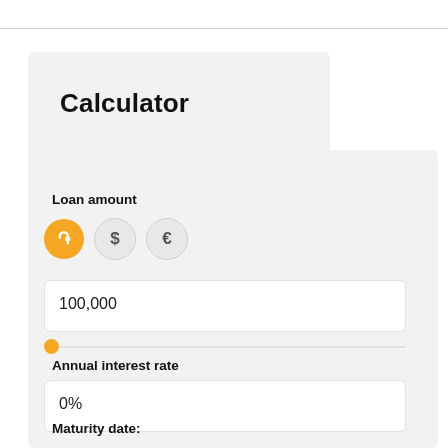Calculator
Loan amount
[Figure (infographic): Currency selector with three circular buttons: Armenian Dram (֏) selected (orange background), Dollar ($) unselected, Euro (€) unselected]
100,000
Annual interest rate
0%
Maturity date: